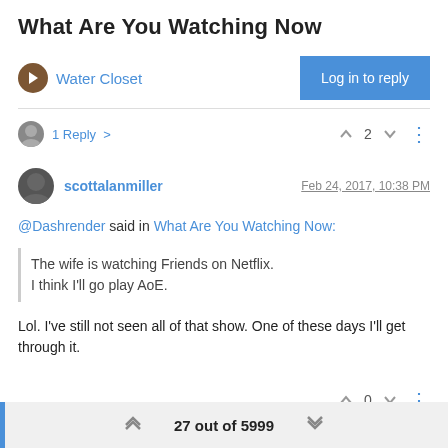What Are You Watching Now
Water Closet
Log in to reply
1 Reply >
2
scottalanmiller
Feb 24, 2017, 10:38 PM
@Dashrender said in What Are You Watching Now:
The wife is watching Friends on Netflix.
I think I'll go play AoE.
Lol. I've still not seen all of that show. One of these days I'll get through it.
0
27 out of 5999